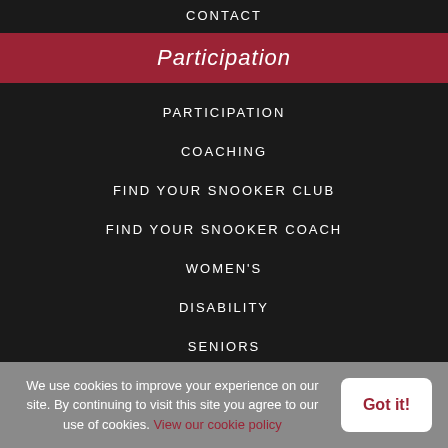CONTACT
Participation
PARTICIPATION
COACHING
FIND YOUR SNOOKER CLUB
FIND YOUR SNOOKER COACH
WOMEN'S
DISABILITY
SENIORS
We use cookies to improve your experience on our site. By continuing to visit this site you agree to our use of cookies. View our cookie policy